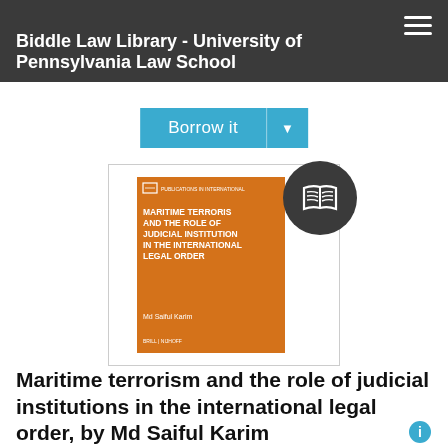Biddle Law Library - University of Pennsylvania Law School
Borrow it
[Figure (photo): Book cover of 'Maritime Terrorism and the Role of Judicial Institutions in the International Legal Order' by Md Saiful Karim, with orange/amber cover, overlaid with a dark circular badge containing a book icon.]
Maritime terrorism and the role of judicial institutions in the international legal order, by Md Saiful Karim